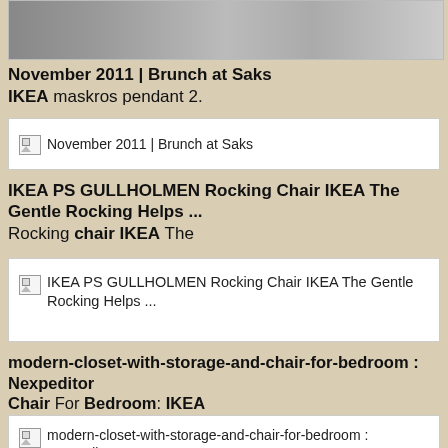[Figure (photo): Partial photo visible at top of page, appears to be a room or furniture scene]
November 2011 | Brunch at Saks
IKEA maskros pendant 2.
[Figure (screenshot): Broken image placeholder: November 2011 | Brunch at Saks]
IKEA PS GULLHOLMEN Rocking Chair IKEA The Gentle Rocking Helps ...
Rocking chair IKEA The
[Figure (screenshot): Broken image placeholder: IKEA PS GULLHOLMEN Rocking Chair IKEA The Gentle Rocking Helps ...]
modern-closet-with-storage-and-chair-for-bedroom : Nexpeditor
Chair For Bedroom: IKEA
[Figure (screenshot): Broken image placeholder: modern-closet-with-storage-and-chair-for-bedroom : Nexpeditor]
Bedroom: IKEA Bedroom Furntiures Dressers, chairs for bedrooms ...
IKEA Bedroom Furntiures
[Figure (screenshot): Broken image placeholder: Bedroom: IKEA Bedroom Furntiures Dressers, chairs for bedrooms ...]